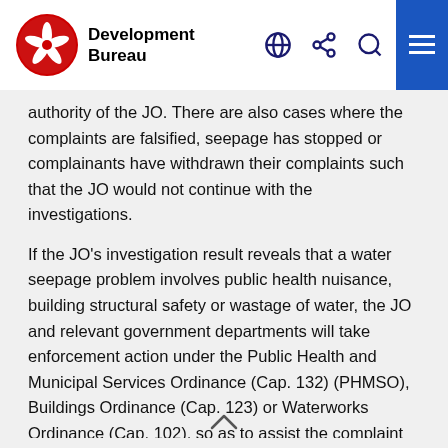Development Bureau
authority of the JO. There are also cases where the complaints are falsified, seepage has stopped or complainants have withdrawn their complaints such that the JO would not continue with the investigations.
If the JO's investigation result reveals that a water seepage problem involves public health nuisance, building structural safety or wastage of water, the JO and relevant government departments will take enforcement action under the Public Health and Municipal Services Ordinance (Cap. 132) (PHMSO), Buildings Ordinance (Cap. 123) or Waterworks Ordinance (Cap. 102), so as to assist the complaint to follow up with a view to curbing the sources of water seepage.